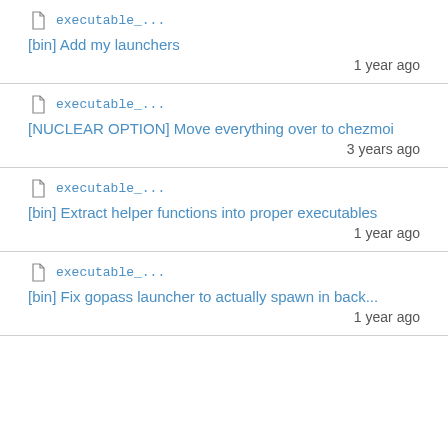executable_... [bin] Add my launchers 1 year ago
executable_... [NUCLEAR OPTION] Move everything over to chezmoi 3 years ago
executable_... [bin] Extract helper functions into proper executables 1 year ago
executable_... [bin] Fix gopass launcher to actually spawn in back... 1 year ago